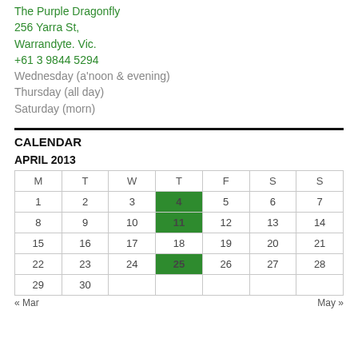The Purple Dragonfly
256 Yarra St,
Warrandyte. Vic.
+61 3 9844 5294
Wednesday (a'noon & evening)
Thursday (all day)
Saturday (morn)
CALENDAR
APRIL 2013
| M | T | W | T | F | S | S |
| --- | --- | --- | --- | --- | --- | --- |
| 1 | 2 | 3 | 4 | 5 | 6 | 7 |
| 8 | 9 | 10 | 11 | 12 | 13 | 14 |
| 15 | 16 | 17 | 18 | 19 | 20 | 21 |
| 22 | 23 | 24 | 25 | 26 | 27 | 28 |
| 29 | 30 |  |  |  |  |  |
« Mar    May »